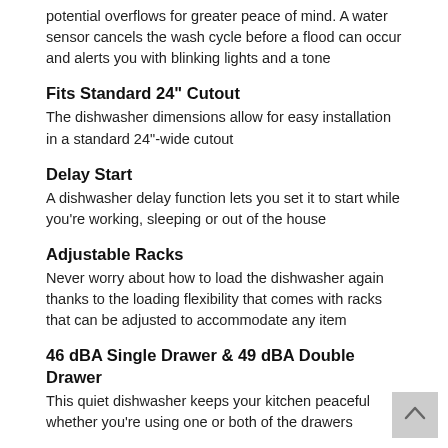potential overflows for greater peace of mind. A water sensor cancels the wash cycle before a flood can occur and alerts you with blinking lights and a tone
Fits Standard 24" Cutout
The dishwasher dimensions allow for easy installation in a standard 24"-wide cutout
Delay Start
A dishwasher delay function lets you set it to start while you're working, sleeping or out of the house
Adjustable Racks
Never worry about how to load the dishwasher again thanks to the loading flexibility that comes with racks that can be adjusted to accommodate any item
46 dBA Single Drawer & 49 dBA Double Drawer
This quiet dishwasher keeps your kitchen peaceful whether you're using one or both of the drawers
Energy Star
Save power and money with an ENERGY STAR® certified, energy-efficient dishwasher.